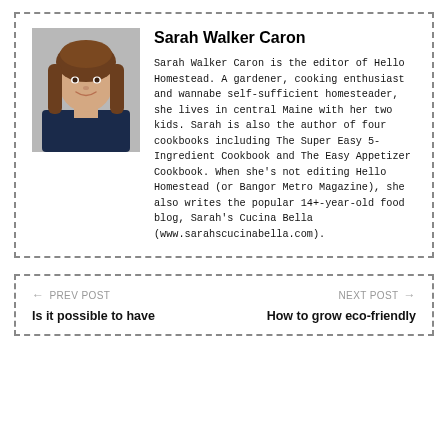[Figure (photo): Headshot photo of Sarah Walker Caron, a woman with long brown hair wearing a dark sleeveless top, smiling.]
Sarah Walker Caron
Sarah Walker Caron is the editor of Hello Homestead. A gardener, cooking enthusiast and wannabe self-sufficient homesteader, she lives in central Maine with her two kids. Sarah is also the author of four cookbooks including The Super Easy 5-Ingredient Cookbook and The Easy Appetizer Cookbook. When she's not editing Hello Homestead (or Bangor Metro Magazine), she also writes the popular 14+-year-old food blog, Sarah's Cucina Bella (www.sarahscucinabella.com).
← PREV POST
Is it possible to have
NEXT POST →
How to grow eco-friendly